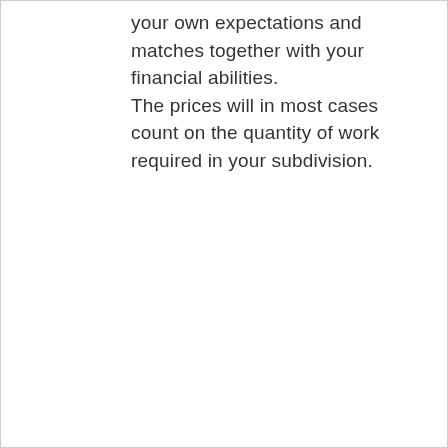your own expectations and matches together with your financial abilities. The prices will in most cases count on the quantity of work required in your subdivision.